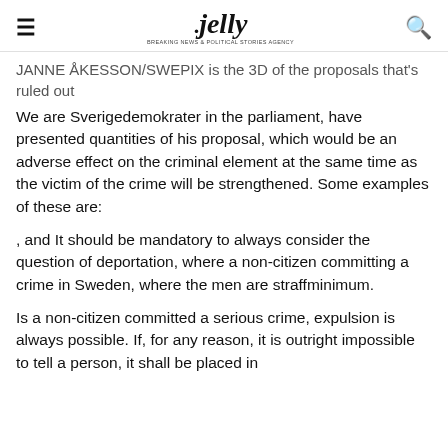jelly
JANNE ÅKESSON/SWEPIX is the 3D of the proposals that's ruled out
We are Sverigedemokrater in the parliament, have presented quantities of his proposal, which would be an adverse effect on the criminal element at the same time as the victim of the crime will be strengthened. Some examples of these are:
, and It should be mandatory to always consider the question of deportation, where a non-citizen committing a crime in Sweden, where the men are straffminimum.
Is a non-citizen committed a serious crime, expulsion is always possible. If, for any reason, it is outright impossible to tell a person, it shall be placed in